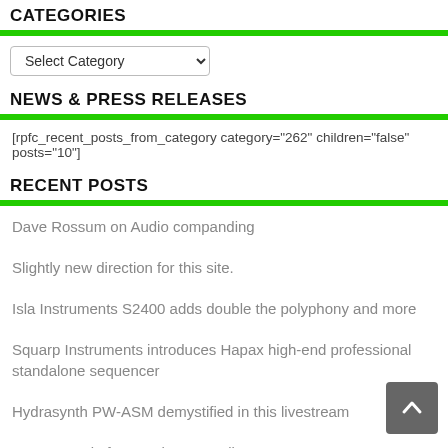CATEGORIES
Select Category (dropdown)
NEWS & PRESS RELEASES
[rpfc_recent_posts_from_category category="262" children="false" posts="10"]
RECENT POSTS
Dave Rossum on Audio companding
Slightly new direction for this site.
Isla Instruments S2400 adds double the polyphony and more
Squarp Instruments introduces Hapax high-end professional standalone sequencer
Hydrasynth PW-ASM demystified in this livestream
SSL goes Big for your home studio
Native Instruments goes Subscription based
Erica Synths Matrix Mixer adds preset patching to your CV gear